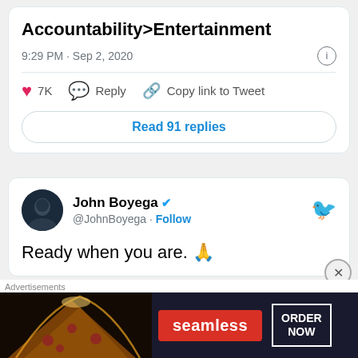Accountability>Entertainment
9:29 PM · Sep 2, 2020
♥ 7K   Reply   Copy link to Tweet
Read 91 replies
John Boyega @JohnBoyega · Follow
Ready when you are. 🙏
Advertisements
[Figure (screenshot): Seamless food delivery advertisement banner showing pizza slices, Seamless red logo button, and ORDER NOW bordered button on dark background]